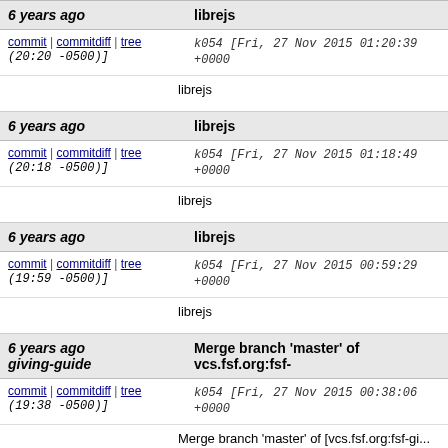| Age | Subject/Author/Date |
| --- | --- |
| 6 years ago | librejs |
| commit | commitdiff | tree (20:20 -0500)] | k054 [Fri, 27 Nov 2015 01:20:39 +0000 |
|  | librejs |
| 6 years ago | librejs |
| commit | commitdiff | tree (20:18 -0500)] | k054 [Fri, 27 Nov 2015 01:18:49 +0000 |
|  | librejs |
| 6 years ago | librejs |
| commit | commitdiff | tree (19:59 -0500)] | k054 [Fri, 27 Nov 2015 00:59:29 +0000 |
|  | librejs |
| 6 years ago giving-guide | Merge branch 'master' of vcs.fsf.org:fsf- |
| commit | commitdiff | tree (19:38 -0500)] | k054 [Fri, 27 Nov 2015 00:38:06 +0000 |
|  | Merge branch 'master' of [vcs.fsf.org:fsf-gi... |